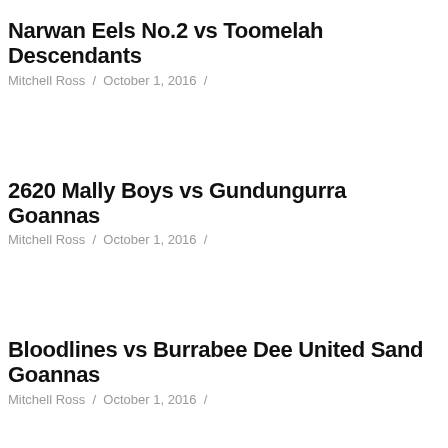Narwan Eels No.2 vs Toomelah Descendants
Mitchell Ross / October 1, 2016 /
2620 Mally Boys vs Gundungurra Goannas
Mitchell Ross / October 1, 2016 /
Bloodlines vs Burrabee Dee United Sand Goannas
Mitchell Ross / October 1, 2016 /